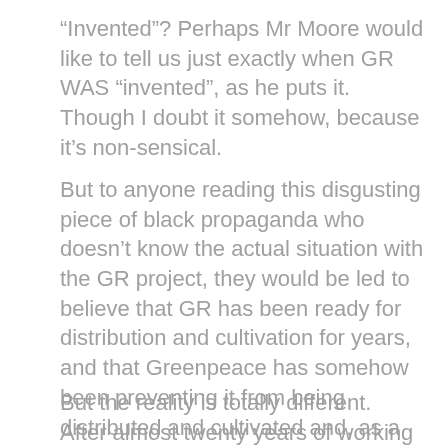“Invented”? Perhaps Mr Moore would like to tell us just exactly when GR WAS “invented”, as he puts it. Though I doubt it somehow, because it’s non-sensical.
But to anyone reading this disgusting piece of black propaganda who doesn’t know the actual situation with the GR project, they would be led to believe that GR has been ready for distribution and cultivation for years, and that Greenpeace has somehow been preventing it from being distributed and cultivated and, as a consequence of that, millions of children have unnecessarily died.
But the reality is totally different.
After almost twenty years of working on GR, it is still not ready for distribution. The